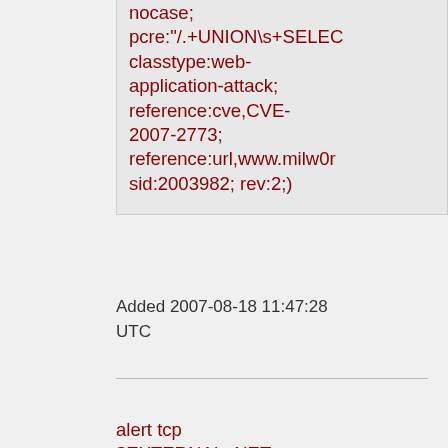nocase; pcre:"/.+UNION\s+SELECT classtype:web-application-attack; reference:cve,CVE-2007-2773; reference:url,www.milw0r sid:2003982; rev:2;)
Added 2007-08-18 11:47:28 UTC
alert tcp $EXTERNAL_NET any -> $HTTP_SERVERS $HTTP_PORTS (msg:"BLEEDING-EDGE WEB Zomplog SQL